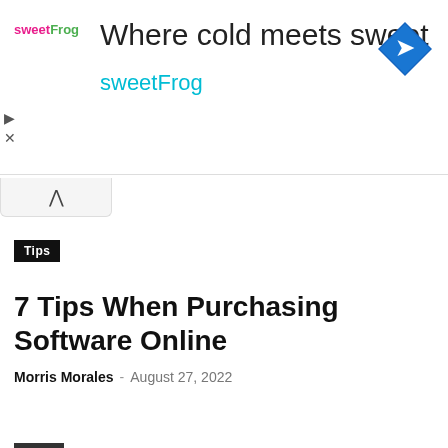[Figure (screenshot): SweetFrog advertisement banner with logo, tagline 'Where cold meets sweet', 'sweetFrog' text in cyan, and a blue diamond navigation arrow icon on the right.]
Tips
7 Tips When Purchasing Software Online
Morris Morales - August 27, 2022